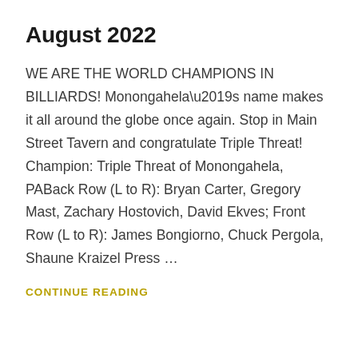August 2022
WE ARE THE WORLD CHAMPIONS IN BILLIARDS! Monongahela’s name makes it all around the globe once again. Stop in Main Street Tavern and congratulate Triple Threat! Champion: Triple Threat of Monongahela, PABack Row (L to R): Bryan Carter, Gregory Mast, Zachary Hostovich, David Ekves; Front Row (L to R): James Bongiorno, Chuck Pergola, Shaune Kraizel Press …
CONTINUE READING